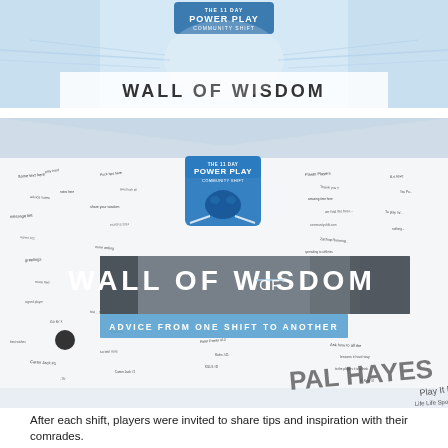[Figure (photo): Top portion of a Wall of Wisdom display with light blue background, hockey-themed graphics, and text 'WALL OF WISDOM' visible at top]
[Figure (photo): Photo of the 'Wall of Wisdom' at The 11 Day Power Play Community Shift event. A large white board covered in handwritten signatures, notes, and messages. A banner reads 'WALL OF WISDOM - ADVICE FROM ONE SHIFT TO ANOTHER' with the Power Play Community Shift logo featuring a bison.]
After each shift, players were invited to share tips and inspiration with their comrades.